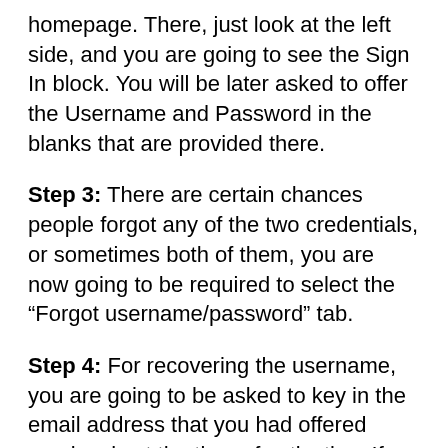homepage. There, just look at the left side, and you are going to see the Sign In block. You will be later asked to offer the Username and Password in the blanks that are provided there.
Step 3: There are certain chances people forgot any of the two credentials, or sometimes both of them, you are now going to be required to select the “Forgot username/password” tab.
Step 4: For recovering the username, you are going to be asked to key in the email address that you had offered previously at the time of activation. If you have forgotten the password, then you will be required to